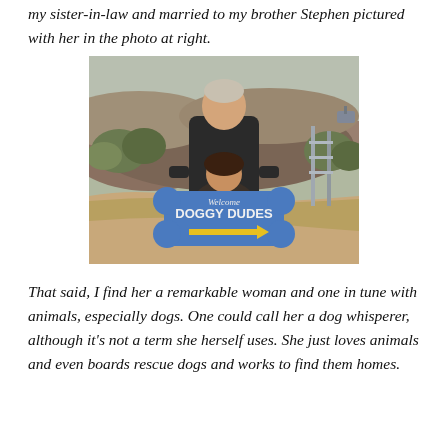my sister-in-law and married to my brother Stephen pictured with her in the photo at right.
[Figure (photo): A man and woman outdoors in a desert landscape. The woman is kneeling and holding a large blue bone-shaped sign reading 'Welcome DOGGY DUDES' with a yellow arrow. The man stands behind her. There are scrubby hills, dry grass, and a metal structure/gate in the background.]
That said, I find her a remarkable woman and one in tune with animals, especially dogs. One could call her a dog whisperer, although it's not a term she herself uses. She just loves animals and even boards rescue dogs and works to find them homes.